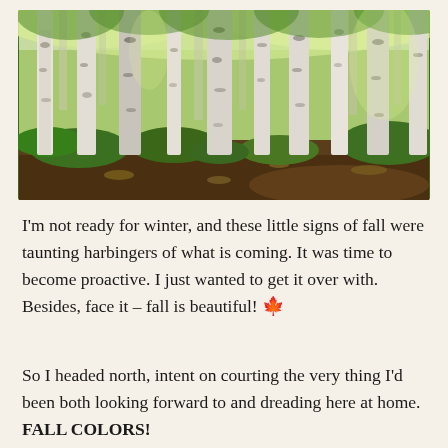[Figure (photo): A birch forest with tall white-barked trees, green undergrowth and shrubs, fallen leaves on a dirt path, photographed in early fall]
I'm not ready for winter, and these little signs of fall were taunting harbingers of what is coming. It was time to become proactive. I just wanted to get it over with. Besides, face it – fall is beautiful! 🍁
So I headed north, intent on courting the very thing I'd been both looking forward to and dreading here at home. FALL COLORS!